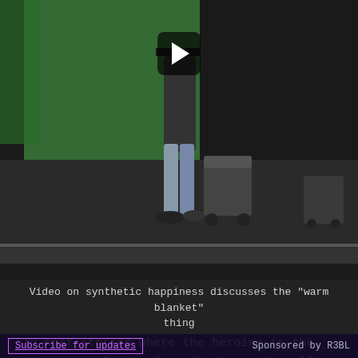[Figure (screenshot): Video thumbnail showing a person walking on a stage with a green screen background and equipment visible. A play button icon is overlaid in the upper center of the video frame.]
Video on synthetic happiness discusses the "warm blanket" thing
In most stories where the heroine is the “chosen one”, she doesn’t choose herself. These folks tend to be seemingly average people who aren’t even aware of who they are, and what power they have. Then comes a moment in time, a moment of truth, where they are faced with the struggle. And this is when they emerge. And they emerge by letting go of who or what they think they are. And in meeting struggle head on, they find out what they are made of, and they discover themselves. Without this, they can’t
Subscribe for updates    Sponsored by R3BL